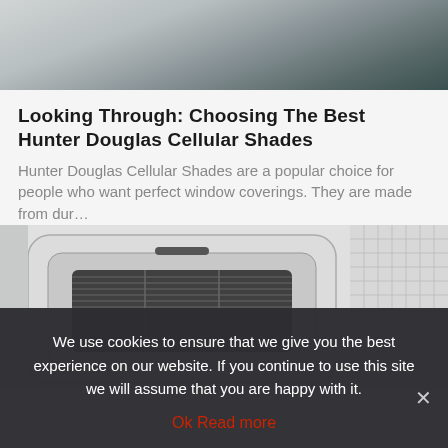[Figure (photo): Top banner photo showing blurred interior scene with muted grey and teal tones]
Looking Through: Choosing The Best Hunter Douglas Cellular Shades
Hunter Douglas Cellular Shades are a popular choice for people who want perfect window coverings. They are made from dur…
[Figure (photo): Close-up photo of a ceiling-mounted cassette air conditioning unit with horizontal louvres and grid vent on the right side]
We use cookies to ensure that we give you the best experience on our website. If you continue to use this site we will assume that you are happy with it.
Ok   Read more